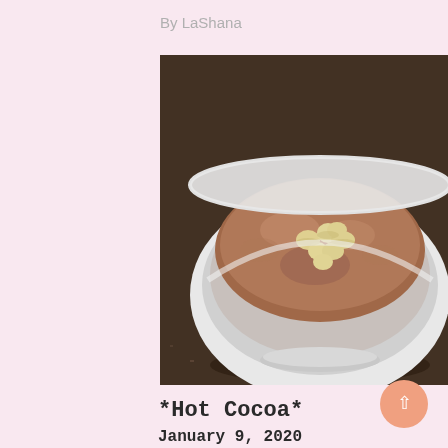By LaShana
[Figure (photo): A white bowl filled with hot cocoa topped with white chocolate chips, sitting on a dark granite countertop.]
*Hot Cocoa*
January 9, 2020